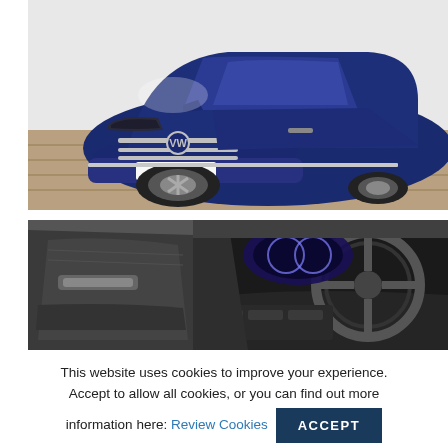[Figure (photo): Blue Volkswagen Tiguan SUV (registration AF20 GKK) photographed from front-left angle in a showroom with wooden flooring and white walls.]
[Figure (photo): Interior shot of a Volkswagen vehicle showing the dashboard, steering wheel, and door panel.]
This website uses cookies to improve your experience. Accept to allow all cookies, or you can find out more information here: Review Cookies
ACCEPT